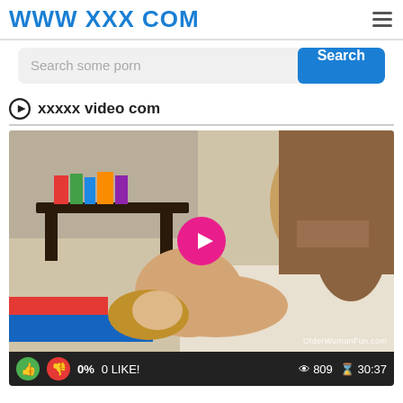www xxx com
Search some porn
xxxxx video com
[Figure (screenshot): Video thumbnail showing adult content with a pink play button overlay. Watermark reads OlderWomanFun.com]
0%  0 LIKE!  809  30:37